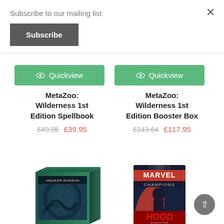Subscribe to our mailing list
×
Subscribe
[Figure (screenshot): Green Quickview button with eye icon for MetaZoo: Wilderness 1st Edition Spellbook]
MetaZoo: Wilderness 1st Edition Spellbook
£49.95 £39.95
[Figure (screenshot): Green Quickview button with eye icon for MetaZoo: Wilderness 1st Edition Booster Box]
MetaZoo: Wilderness 1st Edition Booster Box
£143.64 £117.95
[Figure (photo): Arkham Horror card game box with teal/blue artwork]
[Figure (photo): Marvel Champions: The Hood scenario pack card game box]